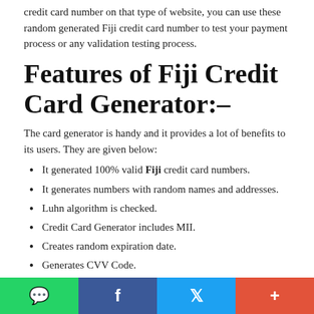credit card number on that type of website, you can use these random generated Fiji credit card number to test your payment process or any validation testing process.
Features of Fiji Credit Card Generator:–
The card generator is handy and it provides a lot of benefits to its users. They are given below:
It generated 100% valid Fiji credit card numbers.
It generates numbers with random names and addresses.
Luhn algorithm is checked.
Credit Card Generator includes MII.
Creates random expiration date.
Generates CVV Code.
The Fiji credit card generator is entirely free to generate credit card numbers.
You can also Generate Bulk Fiji Credit Cards and
WhatsApp | Facebook | Twitter | More